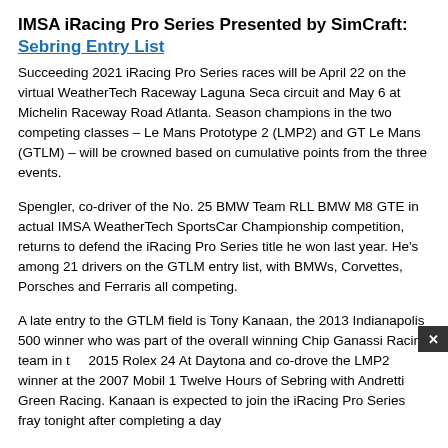IMSA iRacing Pro Series Presented by SimCraft: Sebring Entry List
Succeeding 2021 iRacing Pro Series races will be April 22 on the virtual WeatherTech Raceway Laguna Seca circuit and May 6 at Michelin Raceway Road Atlanta. Season champions in the two competing classes – Le Mans Prototype 2 (LMP2) and GT Le Mans (GTLM) – will be crowned based on cumulative points from the three events.
Spengler, co-driver of the No. 25 BMW Team RLL BMW M8 GTE in actual IMSA WeatherTech SportsCar Championship competition, returns to defend the iRacing Pro Series title he won last year. He's among 21 drivers on the GTLM entry list, with BMWs, Corvettes, Porsches and Ferraris all competing.
A late entry to the GTLM field is Tony Kanaan, the 2013 Indianapolis 500 winner who was part of the overall winning Chip Ganassi Racing team in the 2015 Rolex 24 At Daytona and co-drove the LMP2 winner at the 2007 Mobil 1 Twelve Hours of Sebring with Andretti Green Racing. Kanaan is expected to join the iRacing Pro Series fray tonight after completing a day